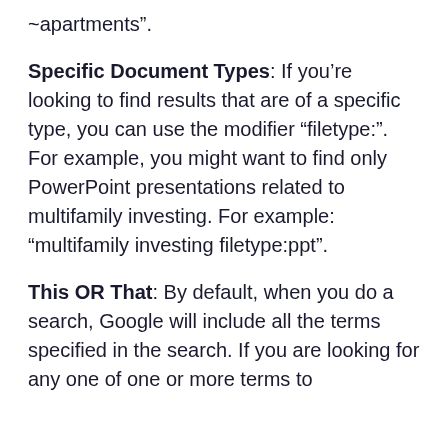~apartments".
Specific Document Types: If you're looking to find results that are of a specific type, you can use the modifier "filetype:". For example, you might want to find only PowerPoint presentations related to multifamily investing. For example: "multifamily investing filetype:ppt".
This OR That: By default, when you do a search, Google will include all the terms specified in the search. If you are looking for any one of one or more terms to